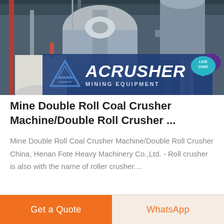[Figure (photo): Industrial mining equipment / large mill machine in a factory setting, with ACRUSHER MINING EQUIPMENT logo overlay banner (blue background, white text, triangle logo) and a teal live chat bubble in the top right corner.]
Mine Double Roll Coal Crusher Machine/Double Roll Crusher ...
Mine Double Roll Coal Crusher Machine/Double Roll Crusher China, Henan Fote Heavy Machinery Co.,Ltd. - Roll crusher is also with the name of roller crusher....
Get a Quote
WhatsApp